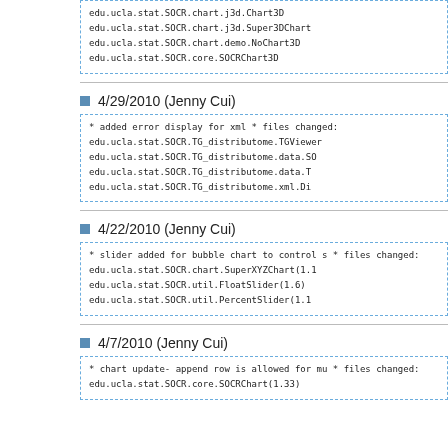edu.ucla.stat.SOCR.chart.j3d.Chart3D
edu.ucla.stat.SOCR.chart.j3d.Super3DChart
edu.ucla.stat.SOCR.chart.demo.NoChart3D
edu.ucla.stat.SOCR.core.SOCRChart3D
4/29/2010 (Jenny Cui)
* added error display for xml
*  files changed:
   edu.ucla.stat.SOCR.TG_distributome.TGViewer
   edu.ucla.stat.SOCR.TG_distributome.data.SO
   edu.ucla.stat.SOCR.TG_distributome.data.T
   edu.ucla.stat.SOCR.TG_distributome.xml.Di
4/22/2010 (Jenny Cui)
* slider added for bubble chart to control s
*  files changed:
   edu.ucla.stat.SOCR.chart.SuperXYZChart(1.1
   edu.ucla.stat.SOCR.util.FloatSlider(1.6)
   edu.ucla.stat.SOCR.util.PercentSlider(1.1
4/7/2010 (Jenny Cui)
* chart update- append row is allowed for mu
*  files changed:
   edu.ucla.stat.SOCR.core.SOCRChart(1.33)